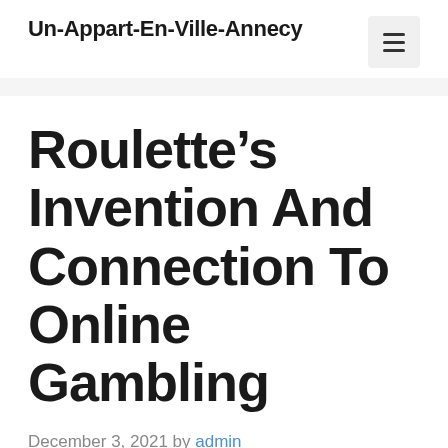Un-Appart-En-Ville-Annecy
Roulette's Invention And Connection To Online Gambling
December 3, 2021 by admin